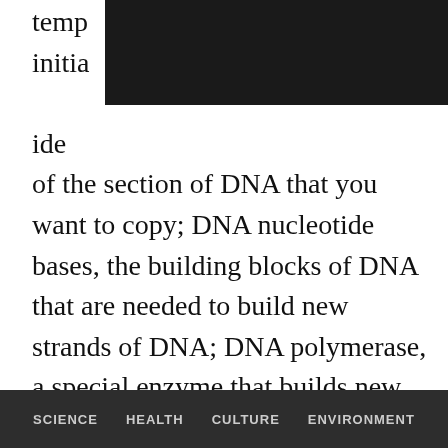temp[REDACTED] initially[REDACTED]ide of the section of DNA that you want to copy; DNA nucleotide bases, the building blocks of DNA that are needed to build new strands of DNA; DNA polymerase, a special enzyme that builds new DNA strands; and a buffer that provides the proper chemical conditions for the reaction.

A sample containing these ingredients is first heated almost to its boiling point, the temperature at which double-stranded DNA separates into two single strands: a process called denaturing. Next, the sample is cooled to a temperature where the primers attach to the single strands: a process called annealing. Once the annealing is complete, the temperature begins to rise and the DNA polymerase automatically begins making new strands of
SCIENCE    HEALTH    CULTURE    ENVIRONMENT